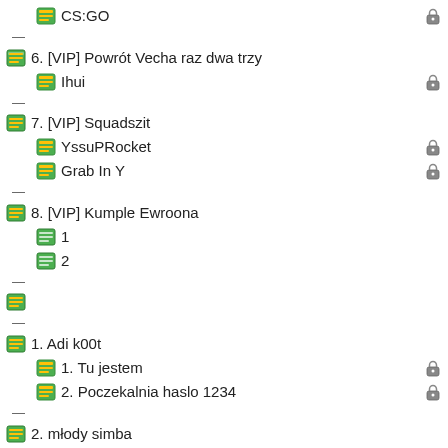CS:GO (child of 5. [VIP] Feast)
— separator
6. [VIP] Powrót Vecha raz dwa trzy
Ihui
— separator
7. [VIP] Squadszit
YssuPRocket
Grab In Y
— separator
8. [VIP] Kumple Ewroona
1
2
— separator
(empty server icon)
— separator
1. Adi k00t
1. Tu jestem
2. Poczekalnia haslo 1234
— separator
2. młody simba
tu dla koksuw
tu dla szefow
— separator
3. elo